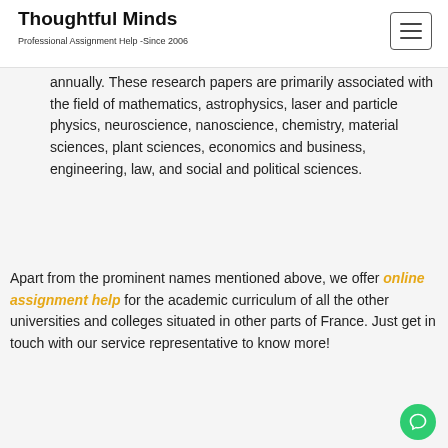Thoughtful Minds
Professional Assignment Help -Since 2006
annually. These research papers are primarily associated with the field of mathematics, astrophysics, laser and particle physics, neuroscience, nanoscience, chemistry, material sciences, plant sciences, economics and business, engineering, law, and social and political sciences.
Apart from the prominent names mentioned above, we offer online assignment help for the academic curriculum of all the other universities and colleges situated in other parts of France. Just get in touch with our service representative to know more!